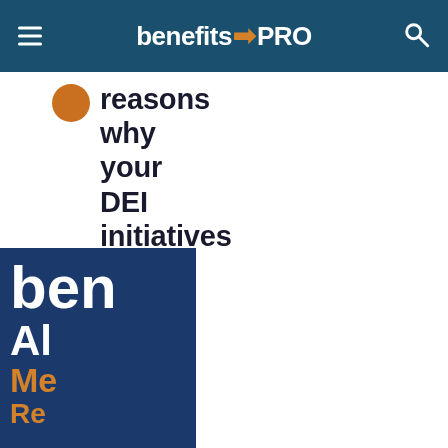benefitsPRO
reasons why your DEI initiatives fail
[Figure (screenshot): Partial thumbnail of a BenefitsPRO magazine/book cover showing text 'ben', 'Al', 'Me', 'Re' in white and orange on dark navy blue background]